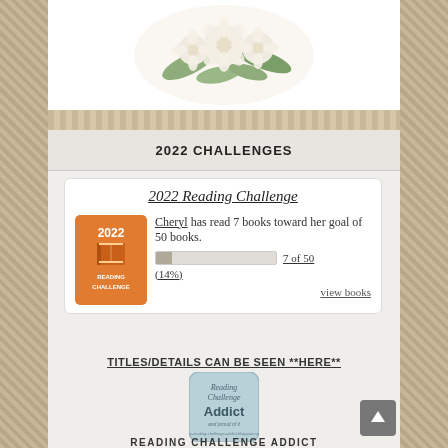[Figure (illustration): Floral arrangement with white/cream flowers and green leaves at the top of the page]
2022 CHALLENGES
2022 Reading Challenge
Cheryl has read 7 books toward her goal of 50 books.
[Figure (infographic): Progress bar showing 7 of 50 (14%) with Goodreads 2022 Reading Challenge badge]
7 of 50 (14%)
view books
TITLES/DETAILS CAN BE SEEN **HERE**
[Figure (illustration): Reading Challenge Addict badge - blue/grey rounded square badge]
READING CHALLENGE ADDICT